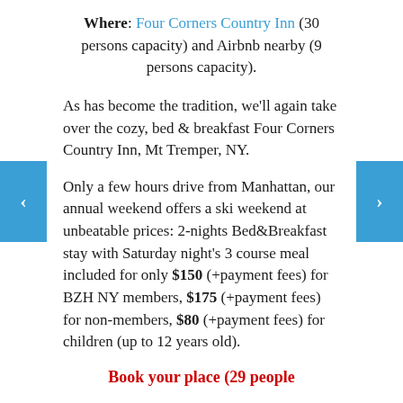Where: Four Corners Country Inn (30 persons capacity) and Airbnb nearby (9 persons capacity).
As has become the tradition, we'll again take over the cozy, bed & breakfast Four Corners Country Inn, Mt Tremper, NY.
Only a few hours drive from Manhattan, our annual weekend offers a ski weekend at unbeatable prices: 2-nights Bed&Breakfast stay with Saturday night's 3 course meal included for only $150 (+payment fees) for BZH NY members, $175 (+payment fees) for non-members, $80 (+payment fees) for children (up to 12 years old).
Book your place (29 people